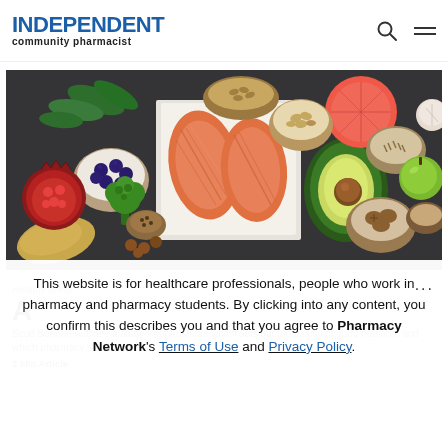INDEPENDENT community pharmacist
[Figure (photo): Overhead flat-lay photograph of healthy foods including two salmon fillets on white paper, avocado, blueberries, pomegranate, broccoli, various nuts and seeds in bowls, grapefruit, green apple, on a dark slate background.]
Healthy living
A
Scott Bannan outlines a study from Australia which sets out the basics of good nutrition, and which pharmacy staff can...
2 Min Article
This website is for healthcare professionals, people who work in pharmacy and pharmacy students. By clicking into any content, you confirm this describes you and that you agree to Pharmacy Network's Terms of Use and Privacy Policy.